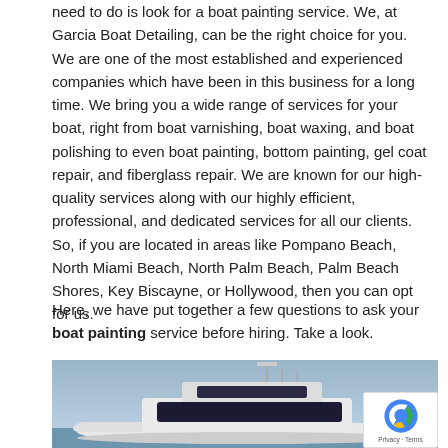need to do is look for a boat painting service. We, at Garcia Boat Detailing, can be the right choice for you. We are one of the most established and experienced companies which have been in this business for a long time. We bring you a wide range of services for your boat, right from boat varnishing, boat waxing, and boat polishing to even boat painting, bottom painting, gel coat repair, and fiberglass repair. We are known for our high-quality services along with our highly efficient, professional, and dedicated services for all our clients. So, if you are located in areas like Pompano Beach, North Miami Beach, North Palm Beach, Palm Beach Shores, Key Biscayne, or Hollywood, then you can opt for us.
Here, we have put together a few questions to ask your boat painting service before hiring. Take a look.
[Figure (photo): A large white luxury motor yacht photographed from the side, showing the cabin, upper deck, and antennas, with a blue sky and water/shoreline in background. A reCAPTCHA privacy badge is overlaid in the bottom-right corner.]